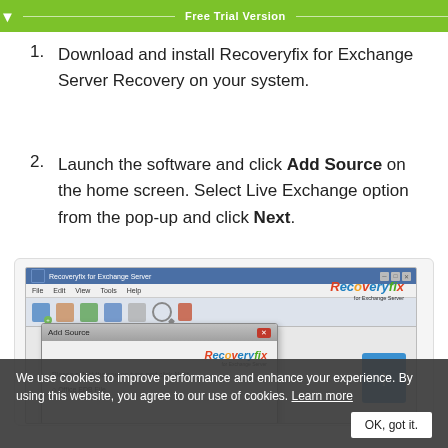[Figure (infographic): Green banner with downward arrow and 'Free Trial Version' text in white]
Download and install Recoveryfix for Exchange Server Recovery on your system.
Launch the software and click Add Source on the home screen. Select Live Exchange option from the pop-up and click Next.
[Figure (screenshot): Screenshot of Recoveryfix for Exchange Server software showing the main window with toolbar and an 'Add Source' dialog box open, displaying 'Please select the source type and click Next' with a radio option for Office EDB File visible.]
We use cookies to improve performance and enhance your experience. By using this website, you agree to our use of cookies. Learn more   OK, got it.